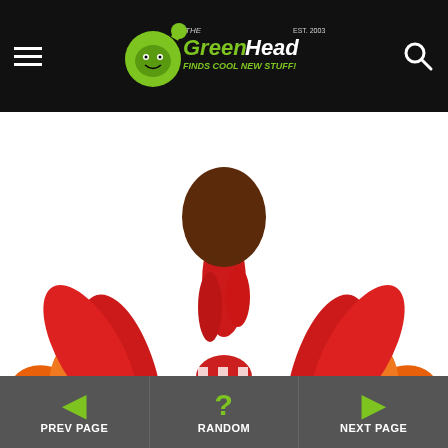The Green Head - Finds Cool New Stuff!
[Figure (photo): Giant inflatable turkey decoration with brown body, red and orange feathers, yellow feet, red wattle, and checkered bandana around neck, shown from a low angle on white background]
Thanksgiving
6' Giant Inflatable Turkey
PREV PAGE | RANDOM | NEXT PAGE